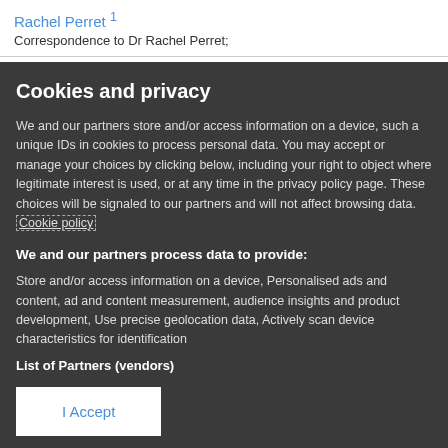Rachel Perret 1
Correspondence to Dr Rachel Perret;
Cookies and privacy
We and our partners store and/or access information on a device, such a unique IDs in cookies to process personal data. You may accept or manage your choices by clicking below, including your right to object where legitimate interest is used, or at any time in the privacy policy page. These choices will be signaled to our partners and will not affect browsing data. Cookie policy
We and our partners process data to provide:
Store and/or access information on a device, Personalised ads and content, ad and content measurement, audience insights and product development, Use precise geolocation data, Actively scan device characteristics for identification
List of Partners (vendors)
I Accept